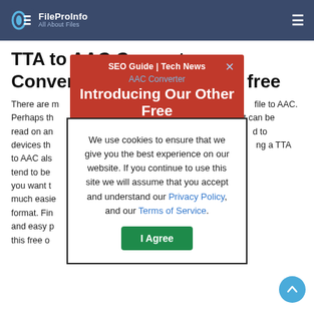FileProInfo — All About Files
TTA to AAC Converter
Convert tta to aac online & free
There are m... file to AAC. Perhaps th... can be read on any... d to devices tha... ng a TTA to AAC also... AC files tend to be... ionally, if you want to... n be much easie... TTA format. Fina... a quick and easy p... ree using this free on...
[Figure (screenshot): Red promotional popup banner with text 'SEO Guide | Tech News' and 'Introducing Our Other Free' with a close X button]
[Figure (screenshot): Cookie consent dialog box with text 'We use cookies to ensure that we give you the best experience on our website. If you continue to use this site we will assume that you accept and understand our Privacy Policy, and our Terms of Service.' with an I Agree button]